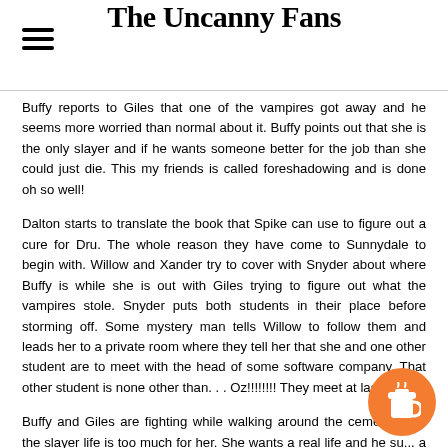The Uncanny Fans
Buffy reports to Giles that one of the vampires got away and he seems more worried than normal about it. Buffy points out that she is the only slayer and if he wants someone better for the job than she could just die. This my friends is called foreshadowing and is done oh so well!
Dalton starts to translate the book that Spike can use to figure out a cure for Dru. The whole reason they have come to Sunnydale to begin with. Willow and Xander try to cover with Snyder about where Buffy is while she is out with Giles trying to figure out what the vampires stole. Snyder puts both students in their place before storming off. Some mystery man tells Willow to follow them and leads her to a private room where they tell her that she and one other student are to meet with the head of some software company. That other student is none other than. . . Oz!!!!!!!! They meet at last!
Buffy and Giles are fighting while walking around the cemetery a... the slayer life is too much for her. She wants a real life and he su... a career in law enforcement. Wrong thing to say at that moment. She really